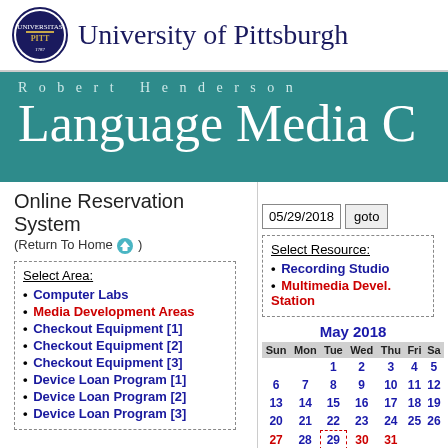University of Pittsburgh
Robert Henderson Language Media C
Online Reservation System (Return To Home)
05/29/2018  goto
| Select Area: |
| --- |
| Computer Labs |
| Media Development Areas |
| Checkout Equipment [1] |
| Checkout Equipment [2] |
| Checkout Equipment [3] |
| Device Loan Program [1] |
| Device Loan Program [2] |
| Device Loan Program [3] |
| Select Resource: |
| --- |
| Recording Studio |
| Multimedia Devel. Station |
[Figure (other): May 2018 calendar showing dates 1-31. Date 29 is highlighted with a dashed red border.]
Media Development Areas